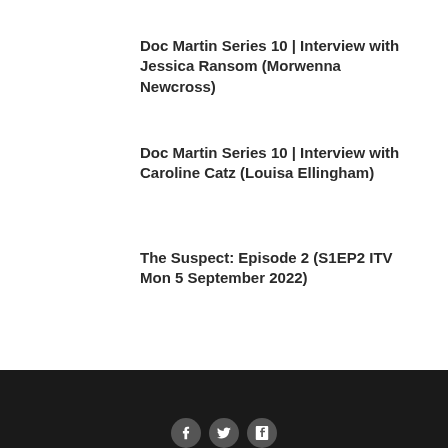Doc Martin Series 10 | Interview with Jessica Ransom (Morwenna Newcross)
Doc Martin Series 10 | Interview with Caroline Catz (Louisa Ellingham)
The Suspect: Episode 2 (S1EP2 ITV Mon 5 September 2022)
Social media icons: Facebook, Twitter, Tumblr